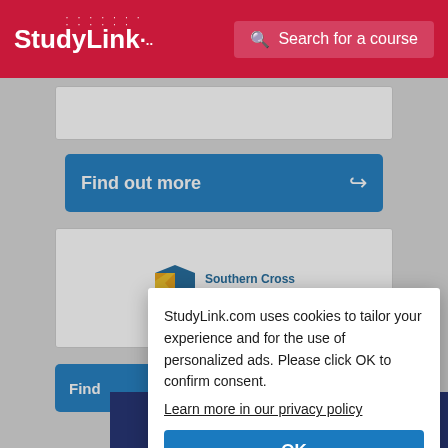[Figure (screenshot): StudyLink website header with red background, StudyLink logo on left and Search for a course button on right]
[Figure (screenshot): Blue Find out more button with arrow icon]
[Figure (logo): Southern Cross University logo with shield icon and text]
StudyLink.com uses cookies to tailor your experience and for the use of personalized ads. Please click OK to confirm consent.
Learn more in our privacy policy
OK